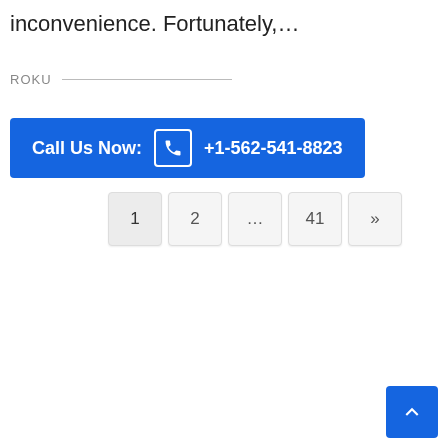inconvenience. Fortunately,…
ROKU
[Figure (infographic): Blue banner with phone icon in white border box and text: Call Us Now: +1-562-541-8823]
[Figure (infographic): Pagination bar with buttons: 1 (active), 2, ..., 41, >>]
[Figure (infographic): Blue back-to-top button with upward chevron arrow in bottom right corner]